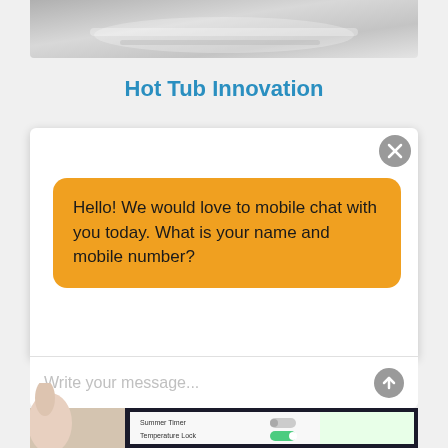[Figure (photo): Top portion of a hot tub or bathtub, showing white/grey curved surface, cropped at bottom]
Hot Tub Innovation
[Figure (screenshot): Mobile chat widget overlay showing an orange message bubble with text 'Hello! We would love to mobile chat with you today. What is your name and mobile number?' and a message input field at the bottom saying 'Write your message...' with a send button. A grey close (X) button appears in the top right corner. Behind the overlay is a white content area and a partial image of hands holding a tablet at the bottom.]